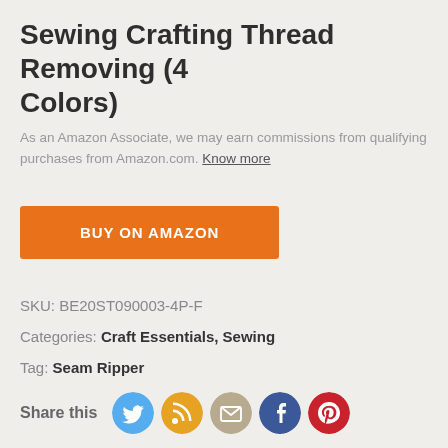Sewing Crafting Thread Removing (4 Colors)
As an Amazon Associate, we may earn commissions from qualifying purchases from Amazon.com. Know more
BUY ON AMAZON
SKU: BE20ST090003-4P-F
Categories: Craft Essentials, Sewing
Tag: Seam Ripper
Share this